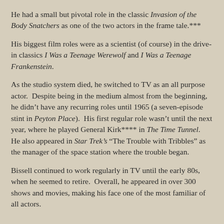He had a small but pivotal role in the classic Invasion of the Body Snatchers as one of the two actors in the frame tale.***
His biggest film roles were as a scientist (of course) in the drive-in classics I Was a Teenage Werewolf and I Was a Teenage Frankenstein.
As the studio system died, he switched to TV as an all purpose actor.  Despite being in the medium almost from the beginning, he didn’t have any recurring roles until 1965 (a seven-episode stint in Peyton Place).  His first regular role wasn’t until the next year, where he played General Kirk**** in The Time Tunnel.  He also appeared in Star Trek’s “The Trouble with Tribbles” as the manager of the space station where the trouble began.
Bissell continued to work regularly in TV until the early 80s, when he seemed to retire.  Overall, he appeared in over 300 shows and movies, making his face one of the most familiar of all actors.